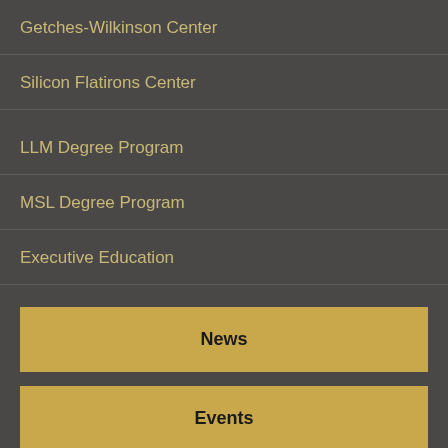Getches-Wilkinson Center
Silicon Flatirons Center
LLM Degree Program
MSL Degree Program
Executive Education
News
Events
Donate